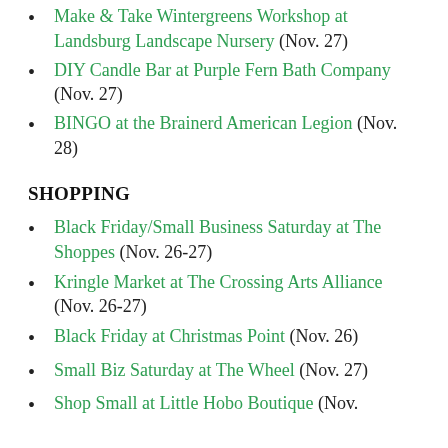Make & Take Wintergreens Workshop at Landsburg Landscape Nursery (Nov. 27)
DIY Candle Bar at Purple Fern Bath Company (Nov. 27)
BINGO at the Brainerd American Legion (Nov. 28)
SHOPPING
Black Friday/Small Business Saturday at The Shoppes (Nov. 26-27)
Kringle Market at The Crossing Arts Alliance (Nov. 26-27)
Black Friday at Christmas Point (Nov. 26)
Small Biz Saturday at The Wheel (Nov. 27)
Shop Small at Little Hobo Boutique (Nov.